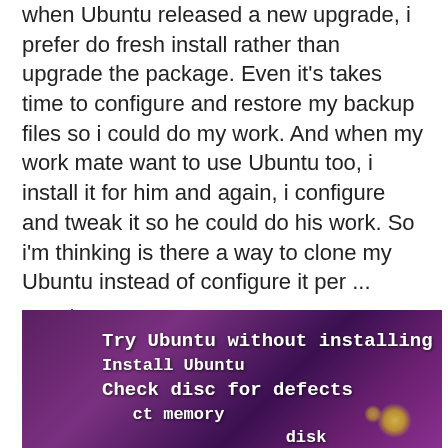when Ubuntu released a new upgrade, i prefer do fresh install rather than upgrade the package. Even it's takes time to configure and restore my backup files so i could do my work. And when my work mate want to use Ubuntu too, i install it for him and again, i configure and tweak it so he could do his work. So i'm thinking is there a way to clone my Ubuntu instead of configure it per ...
Read more...
Categories: Linux Tagged With: backup ubuntu, downloads, howto, linux, remastersys, ubuntu, ubuntu live cd
[Figure (photo): Ubuntu boot menu screen showing options: Try Ubuntu without installing, Install Ubuntu, Check disc for defects, test memory, disk — white text on dark purple/violet background]